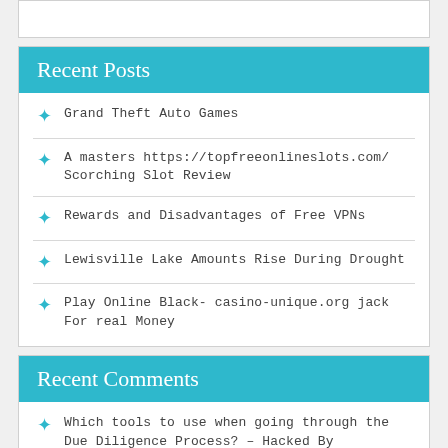Recent Posts
Grand Theft Auto Games
A masters https://topfreeonlineslots.com/ Scorching Slot Review
Rewards and Disadvantages of Free VPNs
Lewisville Lake Amounts Rise During Drought
Play Online Black- casino-unique.org jack For real Money
Recent Comments
Which tools to use when going through the Due Diligence Process? – Hacked By KAKEGURAI on How To Meet Due Diligence Requirements Using Data room